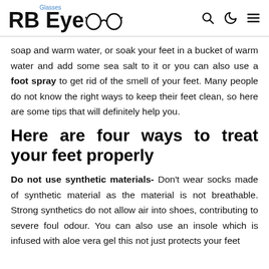RB Eyeglasses
soap and warm water, or soak your feet in a bucket of warm water and add some sea salt to it or you can also use a foot spray to get rid of the smell of your feet. Many people do not know the right ways to keep their feet clean, so here are some tips that will definitely help you.
Here are four ways to treat your feet properly
Do not use synthetic materials- Don't wear socks made of synthetic material as the material is not breathable. Strong synthetics do not allow air into shoes, contributing to severe foul odour. You can also use an insole which is infused with aloe vera gel this not just protects your feet